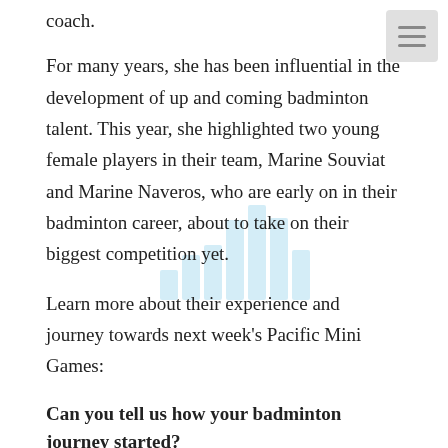coach.
For many years, she has been influential in the development of up and coming badminton talent. This year, she highlighted two young female players in their team, Marine Souviat and Marine Naveros, who are early on in their badminton career, about to take on their biggest competition yet.
Learn more about their experience and journey towards next week's Pacific Mini Games:
Can you tell us how your badminton journey started?
Souviat: "My Dad used to take me to see his co-worker compete in badminton tournaments when I was 9-years-old. Two years later, I started playing Badminton when I decided on my sports enrollment at my secondary school as a Year